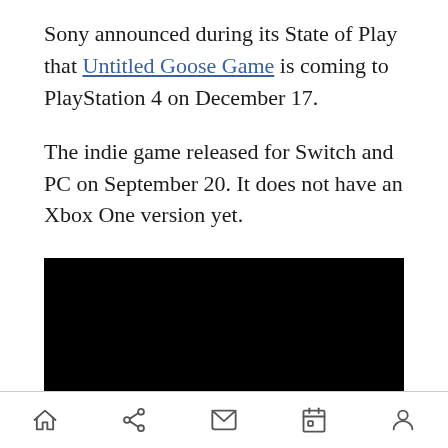Sony announced during its State of Play that Untitled Goose Game is coming to PlayStation 4 on December 17.
The indie game released for Switch and PC on September 20. It does not have an Xbox One version yet.
[Figure (other): Black video player embed or video thumbnail placeholder]